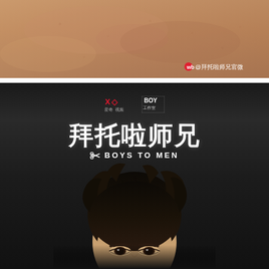[Figure (photo): Close-up photo of a person's bare skin/chest area with warm brown tones, showing skin texture. A Weibo social media watermark '@拜托啦师兄官微' appears in the bottom right corner.]
[Figure (photo): Movie or TV show promotional poster with dark background. Shows logos at top (XO logo and BOY 工作室 logo). Large white Chinese characters '拜托啦师兄' as title. Below in smaller text with scissors icon: 'BOYS TO MEN'. A young Asian male with dark tousled hair is photographed from the top of the head to just below the eyes, centered in the lower portion of the poster.]